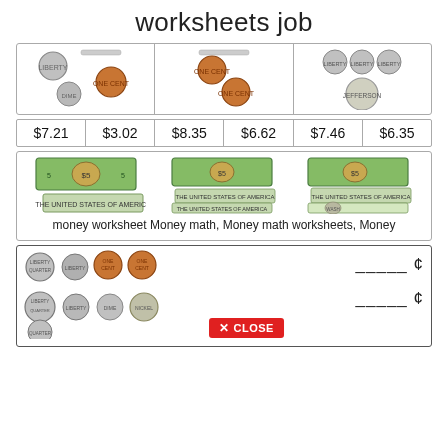worksheets job
[Figure (illustration): Three cells each containing images of US coins (quarters, dimes, pennies) side by side in a bordered row]
| $7.21 | $3.02 | $8.35 | $6.62 | $7.46 | $6.35 |
| --- | --- | --- | --- | --- | --- |
[Figure (illustration): Three cells each containing images of US dollar bills ($5 and $1 bills) arranged in a bordered card]
money worksheet Money math, Money math worksheets, Money
[Figure (illustration): Bottom card showing rows of US coins (quarters, pennies, nickels, dimes) on the left and blank fill-in lines with cent symbols on the right, with a red CLOSE button overlay]